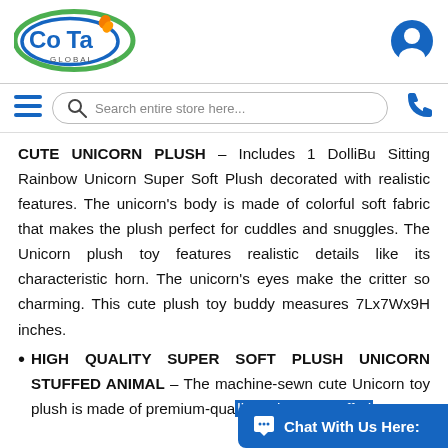[Figure (logo): CoTa Global logo — oval with green outer ring, blue inner ring, 'CoTa' text in blue with orange flame/leaf accent, 'GLOBAL' text below]
[Figure (other): User account icon — blue circle with white person silhouette]
[Figure (other): Hamburger menu icon — three horizontal blue lines]
[Figure (other): Search bar with magnifying glass icon and placeholder text 'Search entire store here...']
[Figure (other): Phone/call icon in dark blue]
CUTE UNICORN PLUSH – Includes 1 DolliBu Sitting Rainbow Unicorn Super Soft Plush decorated with realistic features. The unicorn's body is made of colorful soft fabric that makes the plush perfect for cuddles and snuggles. The Unicorn plush toy features realistic details like its characteristic horn. The unicorn's eyes make the critter so charming. This cute plush toy buddy measures 7Lx7Wx9H inches.
HIGH QUALITY SUPER SOFT PLUSH UNICORN STUFFED ANIMAL – The machine-sewn cute Unicorn toy plush is made of premium-quality polyester stuffed with soft fluffy polyester filling. Cute...